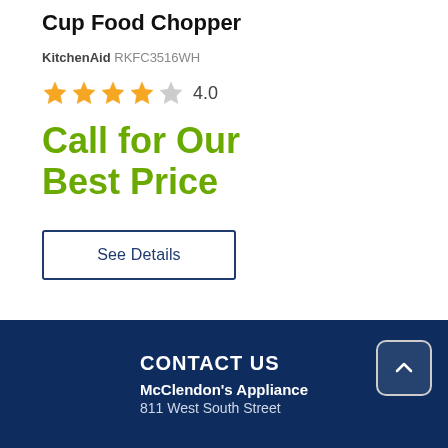Cup Food Chopper
KitchenAid RKFC3516WH
[Figure (other): Star rating: 4 out of 5 stars (4 filled gold stars, 1 empty/grey star), rating label 4.0]
Call for Our Best Price
See Details
CONTACT US
McClendon's Appliance
811 West South Street